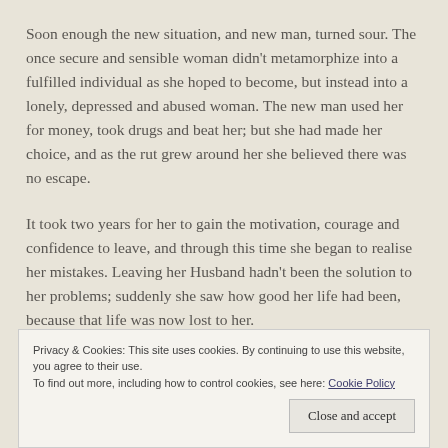Soon enough the new situation, and new man, turned sour. The once secure and sensible woman didn't metamorphize into a fulfilled individual as she hoped to become, but instead into a lonely, depressed and abused woman. The new man used her for money, took drugs and beat her; but she had made her choice, and as the rut grew around her she believed there was no escape.
It took two years for her to gain the motivation, courage and confidence to leave, and through this time she began to realise her mistakes. Leaving her Husband hadn't been the solution to her problems; suddenly she saw how good her life had been, because that life was now lost to her.
Privacy & Cookies: This site uses cookies. By continuing to use this website, you agree to their use. To find out more, including how to control cookies, see here: Cookie Policy
Close and accept